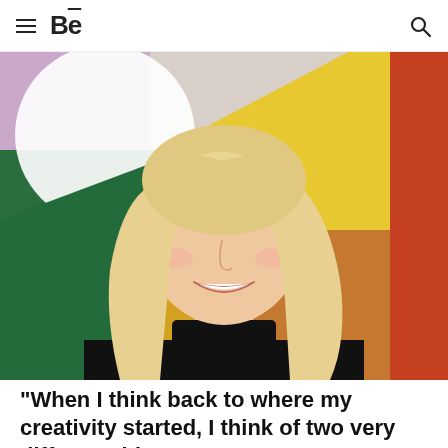≡  Bē  🔍
[Figure (photo): A smiling young woman with long blonde hair wearing a black turtleneck sweater, standing in front of a colorful abstract mural with sections of purple, white, green, yellow, and orange/brown.]
“When I think back to where my creativity started, I think of two very different things;